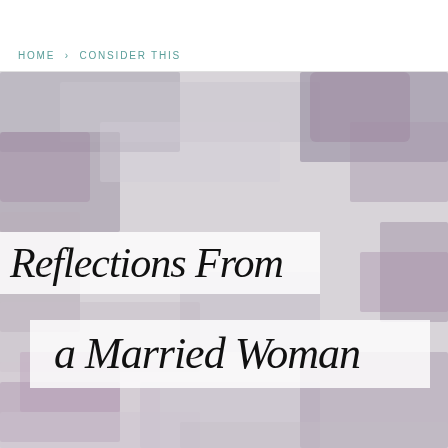HOME > CONSIDER THIS
[Figure (illustration): Abstract painted background in grey, lavender, and mauve tones, with two semi-transparent white overlay boxes containing the title text.]
Reflections From a Married Woman